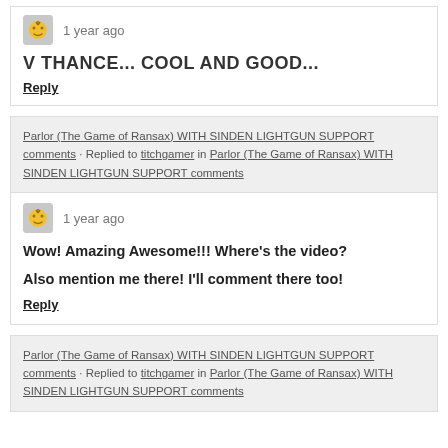V THANCE... COOL AND GOOD...
Reply
Parlor (The Game of Ransax) WITH SINDEN LIGHTGUN SUPPORT comments · Replied to titchgamer in Parlor (The Game of Ransax) WITH SINDEN LIGHTGUN SUPPORT comments
1 year ago
Wow! Amazing Awesome!!! Where's the video?

Also mention me there! I'll comment there too!
Reply
Parlor (The Game of Ransax) WITH SINDEN LIGHTGUN SUPPORT comments · Replied to titchgamer in Parlor (The Game of Ransax) WITH SINDEN LIGHTGUN SUPPORT comments